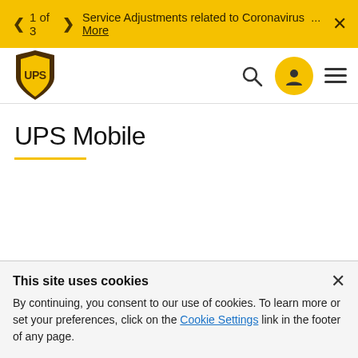< 1 of 3 > Service Adjustments related to Coronavirus ... More ×
[Figure (logo): UPS shield logo with UPS text in yellow and brown]
UPS Mobile
This site uses cookies
By continuing, you consent to our use of cookies. To learn more or set your preferences, click on the Cookie Settings link in the footer of any page.